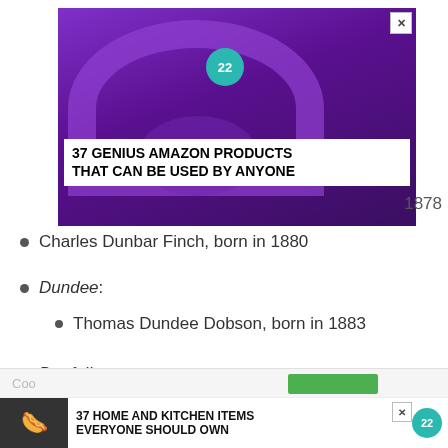[Figure (screenshot): Advertisement banner showing purple headphones with text '37 GENIUS AMAZON PRODUCTS THAT CAN BE USED BY ANYONE' and a circular badge with '22']
1878
Charles Dunbar Finch, born in 1880
Dundee:
Thomas Dundee Dobson, born in 1883
Dunfallen:
We use cookies on our website to give you the most relevant experience by remembering your preferences and repeat visits. By clicking “Accept”, you consent to the use of ALL the cookies.
Do not sell my personal information.
[Figure (screenshot): Advertisement banner showing food with text '37 HOME AND KITCHEN ITEMS EVERYONE SHOULD OWN' and badge '22']